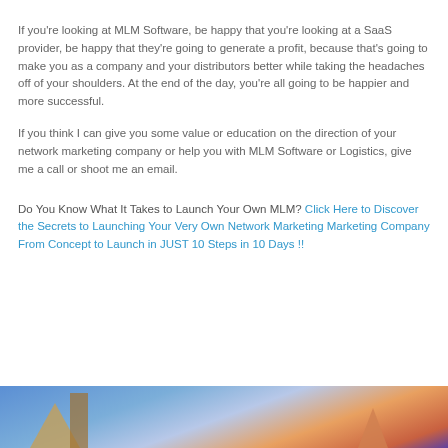If you're looking at MLM Software, be happy that you're looking at a SaaS provider, be happy that they're going to generate a profit, because that's going to make you as a company and your distributors better while taking the headaches off of your shoulders. At the end of the day, you're all going to be happier and more successful.
If you think I can give you some value or education on the direction of your network marketing company or help you with MLM Software or Logistics, give me a call or shoot me an email.
Do You Know What It Takes to Launch Your Own MLM? Click Here to Discover the Secrets to Launching Your Very Own Network Marketing Marketing Company From Concept to Launch in JUST 10 Steps in 10 Days !!
[Figure (photo): Bottom portion of an image showing a colorful background with blue, pink, and orange tones, with silhouettes of structures.]